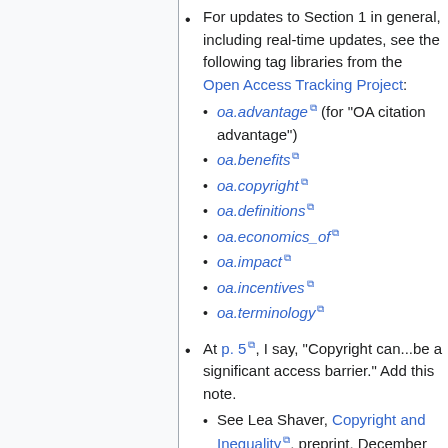For updates to Section 1 in general, including real-time updates, see the following tag libraries from the Open Access Tracking Project:
oa.advantage (for "OA citation advantage")
oa.benefits
oa.copyright
oa.definitions
oa.economics_of
oa.impact
oa.incentives
oa.terminology
At p. 5, I say, "Copyright can...be a significant access barrier." Add this note.
See Lea Shaver, Copyright and Inequality, preprint, December 22, 2014. "The majority of the